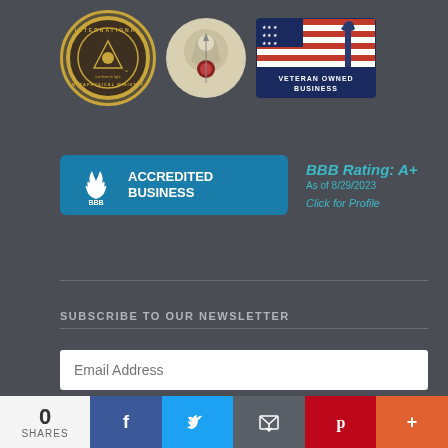[Figure (logo): International Metaphysical Ministry circular gold seal logo]
[Figure (logo): ICPR or similar organization silver circular logo with gemstones]
[Figure (logo): Veteran Owned Business badge with American flag and soldier silhouette]
[Figure (logo): BBB Accredited Business badge and rating block showing BBB Rating: A+, as of 8/29/2023, Click for Profile]
SUBSCRIBE TO OUR NEWSLETTER
Email Address
Subscribe
0 SHARES